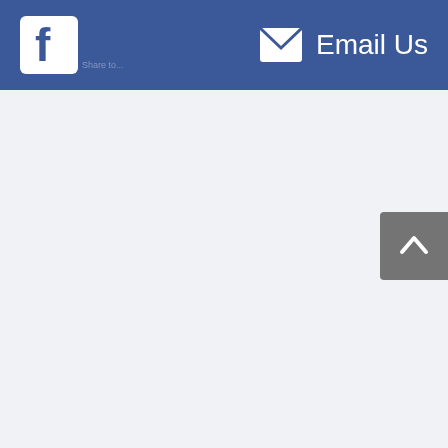Facebook | Email Us
[Figure (other): Scroll-to-top button with upward chevron arrow, grey rounded rectangle, positioned at right edge of page]